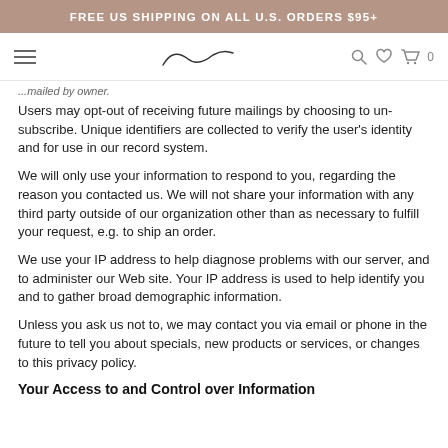FREE US SHIPPING ON ALL U.S. ORDERS $95+
...mailed by owner.
Users may opt-out of receiving future mailings by choosing to unsubscribe. Unique identifiers are collected to verify the user's identity and for use in our record system.
We will only use your information to respond to you, regarding the reason you contacted us. We will not share your information with any third party outside of our organization other than as necessary to fulfill your request, e.g. to ship an order.
We use your IP address to help diagnose problems with our server, and to administer our Web site. Your IP address is used to help identify you and to gather broad demographic information.
Unless you ask us not to, we may contact you via email or phone in the future to tell you about specials, new products or services, or changes to this privacy policy.
Your Access to and Control over Information